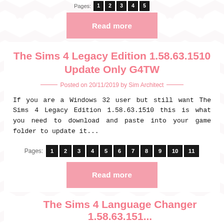Pages: 1 2 3 4 5
Read more
The Sims 4 Legacy Edition 1.58.63.1510 Update Only G4TW
Posted on 20/11/2019 by Sim Architect
If you are a Windows 32 user but still want The Sims 4 Legacy Edition 1.58.63.1510 this is what you need to download and paste into your game folder to update it...
Pages: 1 2 3 4 5 6 7 8 9 10 11
Read more
The Sims 4 Language Changer 1.58.63.151...